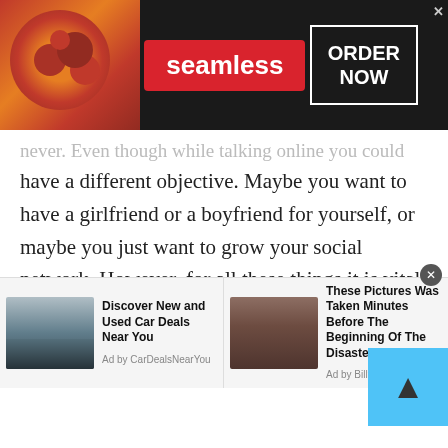[Figure (illustration): Seamless food delivery advertisement banner with pizza image on left, red 'seamless' logo in center, and 'ORDER NOW' button in white border box on dark background]
have a different objective. Maybe you want to have a girlfriend or a boyfriend for yourself, or maybe you just want to grow your social network. However, for all these things it is vital for you to adapt to a few things that could be beneficial for you to win at online chatting with strangers.
1. Be good with words:
The very first and non-visual impact that you will
[Figure (screenshot): Bottom advertisement bar with two sponsored content items: 'Discover New and Used Car Deals Near You' by CarDealsNearYou, and 'These Pictures Was Taken Minutes Before The Beginning Of The Disaster!' by BillyNews]